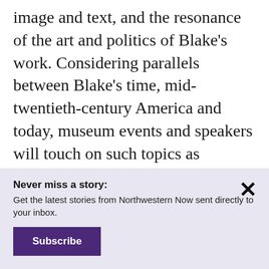image and text, and the resonance of the art and politics of Blake's work. Considering parallels between Blake's time, mid-twentieth-century America and today, museum events and speakers will touch on such topics as political repression, social transformation, and struggles for civil rights.
Never miss a story: Get the latest stories from Northwestern Now sent directly to your inbox.
Subscribe